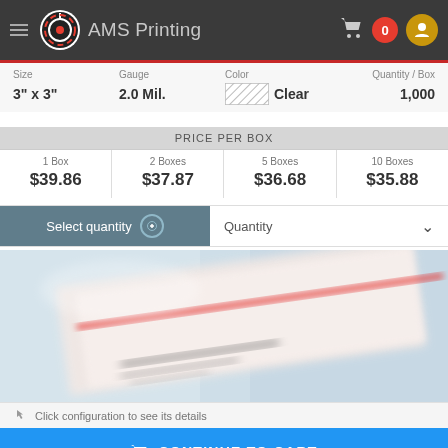AMS Printing
| Size | Gauge | Color | Quantity / Box |
| --- | --- | --- | --- |
| 3" x 3" | 2.0 Mil. | Clear | 1,000 |
| 1 Box | 2 Boxes | 5 Boxes | 10 Boxes |
| --- | --- | --- | --- |
| $39.86 | $37.87 | $36.68 | $35.88 |
Select quantity
Quantity
[Figure (photo): Close-up photo of clear plastic bags with printed labels, blurred/soft focus]
Click configuration to see its details
CONTINUE TO CART